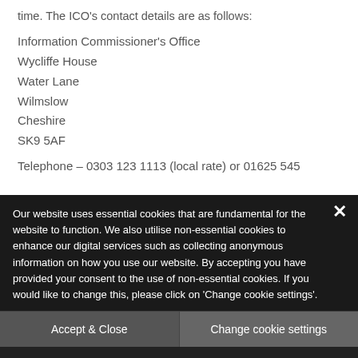time. The ICO's contact details are as follows:
Information Commissioner's Office
Wycliffe House
Water Lane
Wilmslow
Cheshire
SK9 5AF
Telephone – 0303 123 1113 (local rate) or 01625 545
Our website uses essential cookies that are fundamental for the website to function. We also utilise non-essential cookies to enhance our digital services such as collecting anonymous information on how you use our website. By accepting you have provided your consent to the use of non-essential cookies. If you would like to change this, please click on 'Change cookie settings'.
Accept & Close
Change cookie settings